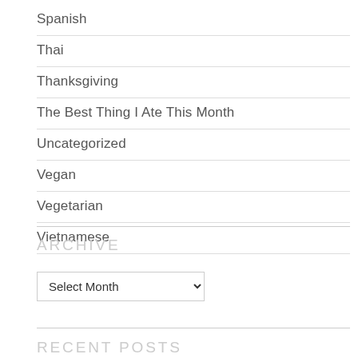Spanish
Thai
Thanksgiving
The Best Thing I Ate This Month
Uncategorized
Vegan
Vegetarian
Vietnamese
ARCHIVE
Select Month
RECENT POSTS